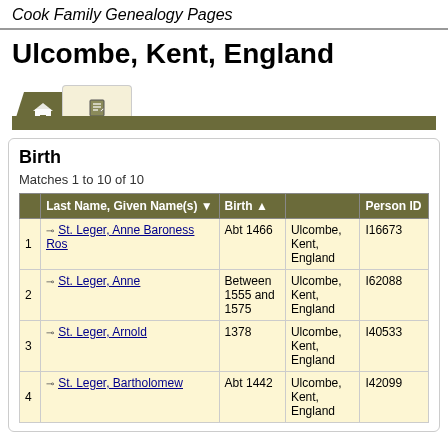Cook Family Genealogy Pages
Ulcombe, Kent, England
Birth
Matches 1 to 10 of 10
|  | Last Name, Given Name(s) | Birth |  | Person ID |
| --- | --- | --- | --- | --- |
| 1 | St. Leger, Anne Baroness Ros | Abt 1466 | Ulcombe, Kent, England | I16673 |
| 2 | St. Leger, Anne | Between 1555 and 1575 | Ulcombe, Kent, England | I62088 |
| 3 | St. Leger, Arnold | 1378 | Ulcombe, Kent, England | I40533 |
| 4 | St. Leger, Bartholomew | Abt 1442 | Ulcombe, Kent, England | I42099 |